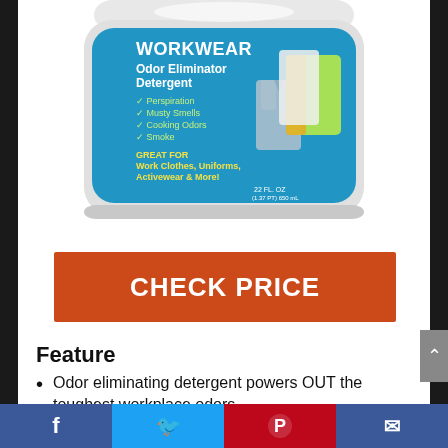[Figure (photo): Workwear Odor Eliminator Detergent product container — blue rounded rectangle tub with white lid. Label shows: WORKWEAR Odor Eliminator Detergent. Bullet points: Perspiration, Musty Smells, Cooking Odors, Smoke. GREAT FOR Work Clothes, Uniforms, Activewear & More! 22 FL. OZ (1.37 PT) 650 mL. Images of work shirts and safety vest on label.]
CHECK PRICE
Feature
Odor eliminating detergent powers OUT the toughest workplace odors
Reaches deep to remove tough